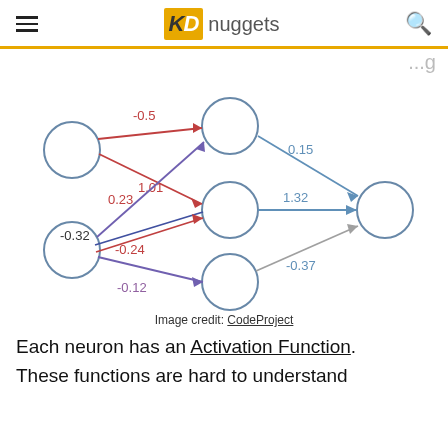KD nuggets
...g...
[Figure (network-graph): Neural network diagram with two input nodes on the left, three hidden layer nodes in the middle, and one output node on the right. Weighted connections between nodes labeled with values: -0.5 (red), 1.01 (red), 0.23 (red), -0.32 (dark), -0.24 (red), -0.12 (purple), and output weights 0.15, 1.32, -0.37 (blue/gray).]
Image credit: CodeProject
Each neuron has an Activation Function.
These functions are hard to understand